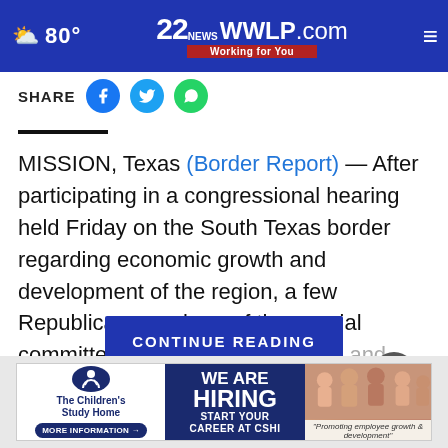80° | 22WWLP.com Working for You
SHARE
MISSION, Texas (Border Report) — After participating in a congressional hearing held Friday on the South Texas border regarding economic growth and development of the region, a few Republican members of the special committee toured the Rio Grande and shifted their attention to border security. Four members... Committee on
CONTINUE READING
[Figure (screenshot): Advertisement for The Children's Study Home: WE ARE HIRING - START YOUR CAREER AT CSHI, Promoting employee growth & development]